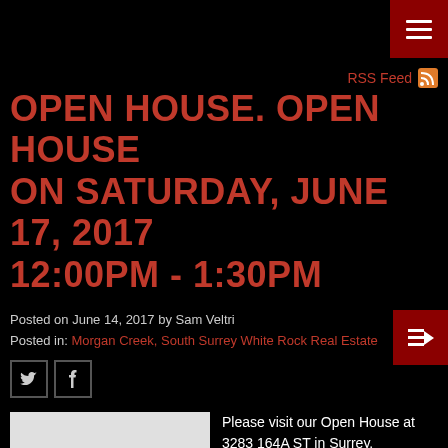RSS Feed
OPEN HOUSE. OPEN HOUSE ON SATURDAY, JUNE 17, 2017 12:00PM - 1:30PM
Posted on June 14, 2017 by Sam Veltri
Posted in: Morgan Creek, South Surrey White Rock Real Estate
[Figure (photo): Camera placeholder image (grey background with camera icon silhouette)]
Please visit our Open House at 3283 164A ST in Surrey.
See details here
Open House on Saturday, June 17, 2017 12:00PM - 1:30PM
Luxury Custom Built Home in